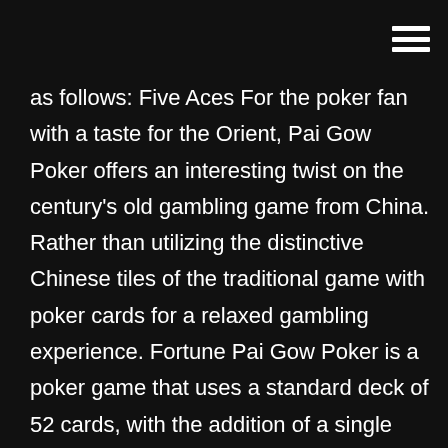as follows: Five Aces For the poker fan with a taste for the Orient, Pai Gow Poker offers an interesting twist on the century's old gambling game from China. Rather than utilizing the distinctive Chinese tiles of the traditional game with poker cards for a relaxed gambling experience. Fortune Pai Gow Poker is a poker game that uses a standard deck of 52 cards, with the addition of a single joker. The player is dealt a hand of seven cards and must make two hands (one of five cards and one of two). Pai gow poker is the American version of pai gow – a Chinese dominoes game. Pai gow was introduced to the US market by Sam Torosian, who invented it based on the Asian model. Sadly for him, he didn't patent it and ended up losing a potential fortune. The game quickly gained popularity and